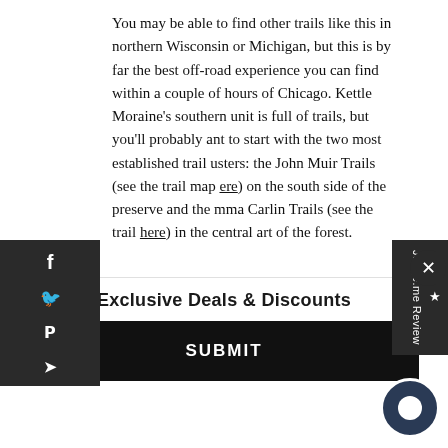You may be able to find other trails like this in northern Wisconsin or Michigan, but this is by far the best off-road experience you can find within a couple of hours of Chicago. Kettle Moraine's southern unit is full of trails, but you'll probably want to start with the two most established trail clusters: the John Muir Trails (see the trail map here) on the south side of the preserve and the Emma Carlin Trails (see the trail here) in the central part of the forest.
5. KNOCH KNOLLS PARK
[Figure (photo): Green forest/park image strip showing trees and vegetation]
Exclusive Deals & Discounts
SUBMIT